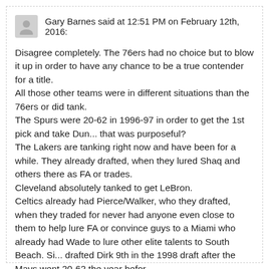Gary Barnes said at 12:51 PM on February 12th, 2016:
Disagree completely. The 76ers had no choice but to blow it up in order to have any chance to be a true contender for a title.
All those other teams were in different situations than the 76ers or did tank.
The Spurs were 20-62 in 1996-97 in order to get the 1st pick and take Dun... that was purposeful?
The Lakers are tanking right now and have been for a while. They already drafted, when they lured Shaq and others there as FA or trades.
Cleveland absolutely tanked to get LeBron.
Celtics already had Pierce/Walker, who they drafted, when they traded for... never had anyone even close to them to help lure FA or convince guys to a... Miami who already had Wade to lure other elite talents to South Beach. Si... drafted Dirk 9th in the 1998 draft after the Mavs went 20-62 the year befor...
Fufina already covered the Rockets well.